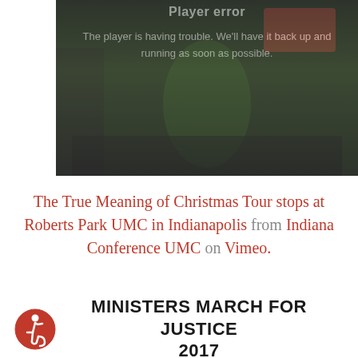[Figure (screenshot): Video player error screen showing a dark background with a person in green clothing. Text reads 'Player error' and 'The player is having trouble. We'll have it back up and running as soon as possible.']
The True Meaning of Christmas Tour stops at Roberts Park UMC in Indianapolis from Indiana Conference UMC on Vimeo.
MINISTERS MARCH FOR JUSTICE 2017
[Figure (logo): Accessibility icon - red circle with wheelchair symbol in white]